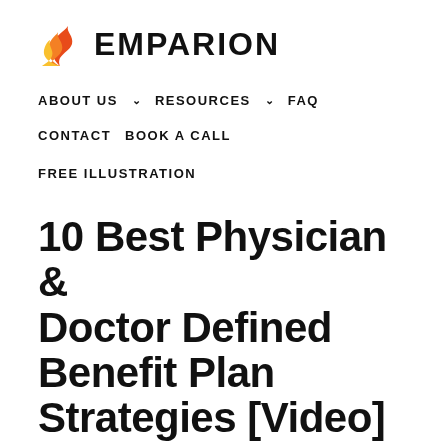[Figure (logo): Emparion logo with flame/wing icon in orange and red gradient, and bold black text 'EMPARION']
ABOUT US ∨  RESOURCES ∨  FAQ
CONTACT  BOOK A CALL
FREE ILLUSTRATION
10 Best Physician & Doctor Defined Benefit Plan Strategies [Video]